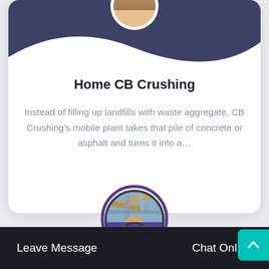[Figure (illustration): Card with dark wave background at top, partially visible circular profile image at top center, company name title and descriptive text below]
Home CB Crushing
Instead of filling up landfills with waste aggregate, CB Crushing's mobile plant takes that pile of concrete or asphalt and turns it into a…
[Figure (photo): Circular image showing industrial machinery/pipes at top half and a female customer service agent with headset at bottom half, with purple border ring]
Leave Message   Chat Online